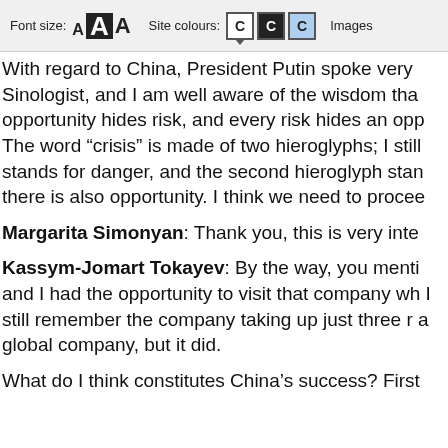Font size: A A A   Site colours: C C C   Images
With regard to China, President Putin spoke very Sinologist, and I am well aware of the wisdom tha opportunity hides risk, and every risk hides an opp The word “crisis” is made of two hieroglyphs; I still stands for danger, and the second hieroglyph stan there is also opportunity. I think we need to procee
Margarita Simonyan: Thank you, this is very inte
Kassym-Jomart Tokayev: By the way, you menti and I had the opportunity to visit that company wh I still remember the company taking up just three r a global company, but it did.
What do I think constitutes China’s success? First